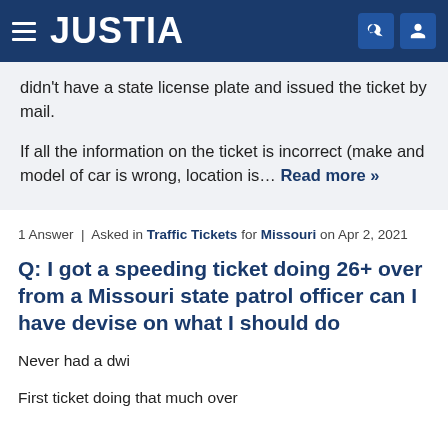JUSTIA
didn't have a state license plate and issued the ticket by mail.

If all the information on the ticket is incorrect (make and model of car is wrong, location is… Read more »
1 Answer | Asked in Traffic Tickets for Missouri on Apr 2, 2021
Q: I got a speeding ticket doing 26+ over from a Missouri state patrol officer can I have devise on what I should do
Never had a dwi
First ticket doing that much over